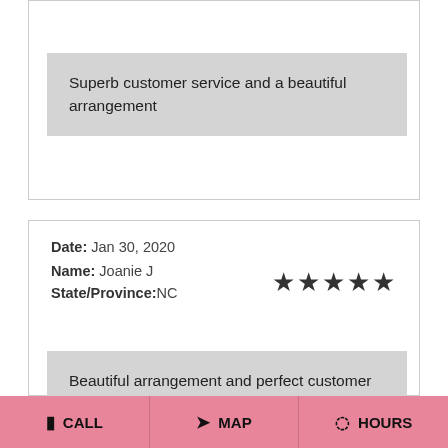Superb customer service and a beautiful arrangement
Date: Jan 30, 2020
Name: Joanie J
State/Province: NC
Beautiful arrangement and perfect customer service!
STEVE's Reply:   Date: Jan 31, 2020, 9:09 am
THANK YOU SO MUCH FOR YOUR BUSINESS. GLAD YOU LIKED THE
CALL   MAP   HOURS